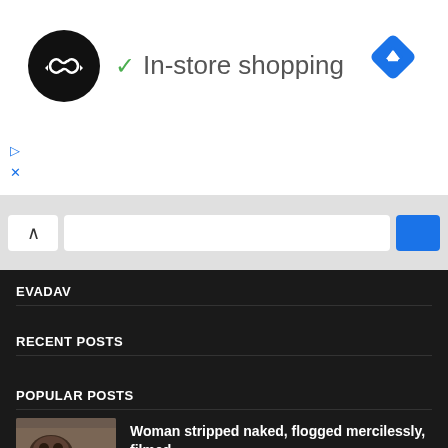[Figure (screenshot): Ad banner with circular black logo with infinity-like arrows icon, green checkmark, 'In-store shopping' text, and blue diamond direction icon on white background]
[Figure (screenshot): Search bar UI with up-caret button, white input field, and blue search button on gray background]
EVADAV
RECENT POSTS
POPULAR POSTS
[Figure (photo): Thumbnail image for post: Woman stripped naked, flogged mercilessly, filmed]
Woman stripped naked, flogged mercilessly, filmed
[Figure (photo): Thumbnail image for post: Mbaka Missing, Ohanaeze Gives Nigerian Govt 48 Hours To Produce Him]
Mbaka Missing, Ohanaeze Gives Nigerian Govt 48 Hours To Produce Him